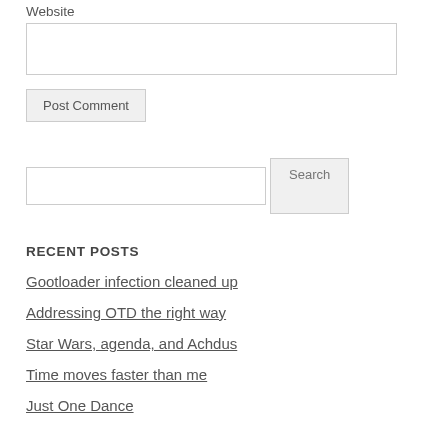Website
Post Comment
Search
RECENT POSTS
Gootloader infection cleaned up
Addressing OTD the right way
Star Wars, agenda, and Achdus
Time moves faster than me
Just One Dance